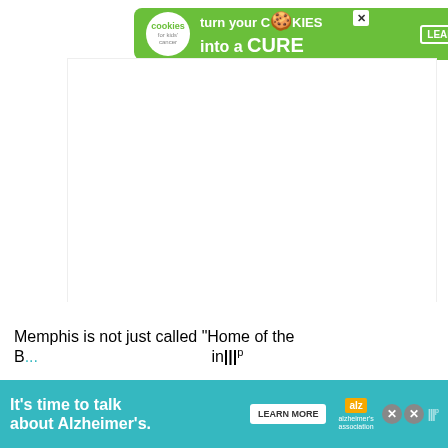[Figure (screenshot): Advertisement banner at top: green background with 'cookies for kids cancer' logo and text 'turn your COOKIES into a CURE LEARN HOW']
[Figure (screenshot): Large white blank area (ad placeholder) with Moat logo watermark in bottom right]
Memphis is not just called “Home of the B... in...
[Figure (screenshot): Advertisement banner at bottom: teal background with text 'It’s time to talk about Alzheimer’s.' with LEARN MORE button and Alzheimer's Association logo]